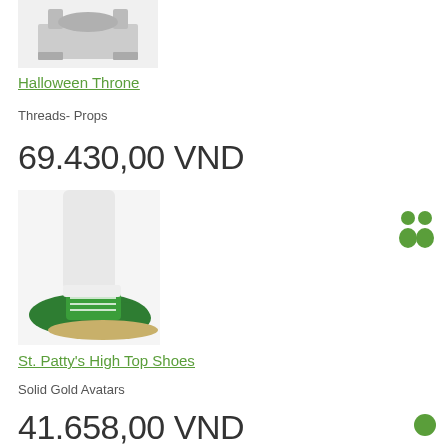[Figure (photo): Product image of Halloween Throne item, partially cropped at top]
Halloween Throne
Threads- Props
69.430,00 VND
[Figure (photo): Product image of St. Patty's High Top Shoes - green high-top sneaker on a white leg]
St. Patty's High Top Shoes
Solid Gold Avatars
41.658,00 VND